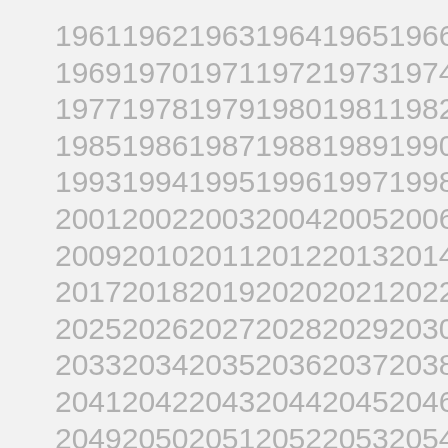1961 1962 1963 1964 1965 1966 1967 1968 1969 1970 1971 1972 1973 1974 1975 1976 1977 1978 1979 1980 1981 1982 1983 1984 1985 1986 1987 1988 1989 1990 1991 1992 1993 1994 1995 1996 1997 1998 1999 2000 2001 2002 2003 2004 2005 2006 2007 2008 2009 2010 2011 2012 2013 2014 2015 2016 2017 2018 2019 2020 2021 2022 2023 2024 2025 2026 2027 2028 2029 2030 2031 2032 2033 2034 2035 2036 2037 2038 2039 2040 2041 2042 2043 2044 2045 2046 2047 2048 2049 2050 2051 2052 2053 2054 2055 2056 2057 2058 2059 2060 2061 2062 2063 2064